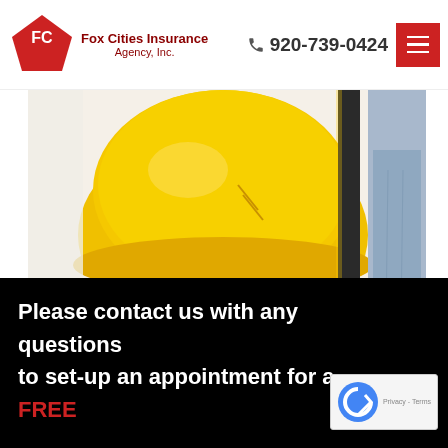[Figure (logo): Fox Cities Insurance Agency, Inc. logo — red pentagon with FC initials]
Fox Cities Insurance Agency, Inc.
920-739-0424
[Figure (photo): Close-up of a yellow construction hard hat being held, with a shovel and worker in jeans visible in background]
Please contact us with any questions to set-up an appointment for a FREE